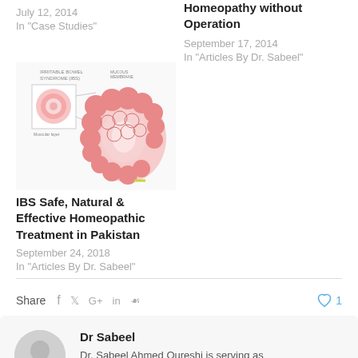July 12, 2014
In "Case Studies"
Homeopathy without Operation
September 17, 2014
In "Articles By Dr. Sabeel"
[Figure (illustration): Medical illustration of Irritable Bowel Syndrome (IBS) showing bowel cross-section and inflamed colon anatomy]
IBS Safe, Natural & Effective Homeopathic Treatment in Pakistan
September 24, 2018
In "Articles By Dr. Sabeel"
Share  f  ✓  G+  in  P   ♡ 1
Dr Sabeel
Dr. Sabeel Ahmed Qureshi is serving as Homeopathic doctor for last 18 years in